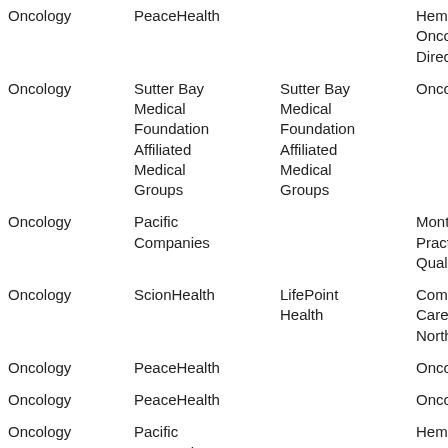| Oncology | PeaceHealth |  | Hematology/Me… Oncology Physi… Director |
| Oncology | Sutter Bay Medical Foundation Affiliated Medical Groups | Sutter Bay Medical Foundation Affiliated Medical Groups | Oncology |
| Oncology | Pacific Companies |  | Montana "Big S… Practice / 4-Day… Quality-of-Life |
| Oncology | ScionHealth | LifePoint Health | Community Bas… Care Practice, P… Northwest |
| Oncology | PeaceHealth |  | Oncologist |
| Oncology | PeaceHealth |  | Oncologist |
| Oncology | Pacific Companies |  | Hematology/On… Opportunity - Le… hour from New… |
| Oncology | Sutter Bay Medical… | Sutter Bay Medical… | Concierge Medi… |